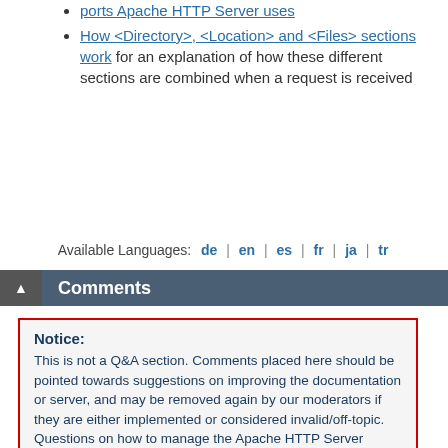ports Apache HTTP Server uses
How <Directory>, <Location> and <Files> sections work for an explanation of how these different sections are combined when a request is received
Available Languages: de | en | es | fr | ja | tr
Comments
Notice:
This is not a Q&A section. Comments placed here should be pointed towards suggestions on improving the documentation or server, and may be removed again by our moderators if they are either implemented or considered invalid/off-topic. Questions on how to manage the Apache HTTP Server should be directed at either our IRC channel, #httpd, on Freenode, or sent to our mailing lists.